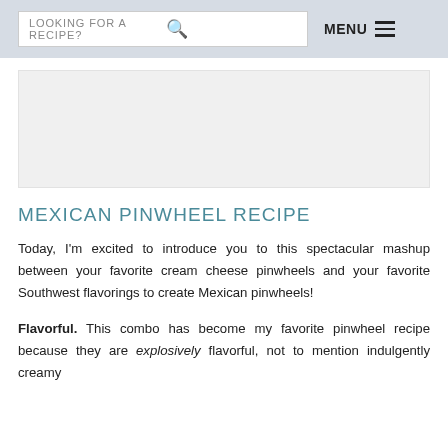LOOKING FOR A RECIPE? [search] MENU ≡
[Figure (photo): Light gray rectangular image placeholder area]
MEXICAN PINWHEEL RECIPE
Today, I'm excited to introduce you to this spectacular mashup between your favorite cream cheese pinwheels and your favorite Southwest flavorings to create Mexican pinwheels!
Flavorful. This combo has become my favorite pinwheel recipe because they are explosively flavorful, not to mention indulgently creamy